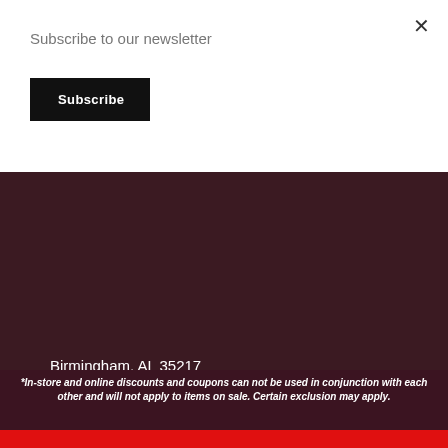Subscribe to our newsletter
Subscribe
×
Birmingham, AL 35217
(205) 661-3991
HOURS
OPEN  BY APPOINTMENT ONLY!
*In-store and online discounts and coupons can not be used in conjunction with each other and will not apply to items on sale. Certain exclusion may apply.